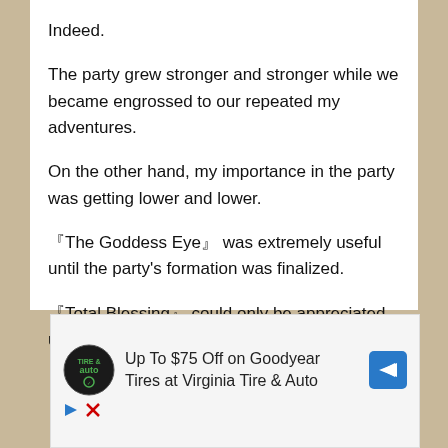Indeed.
The party grew stronger and stronger while we became engrossed to our repeated my adventures.
On the other hand, my importance in the party was getting lower and lower.
『The Goddess Eye』 was extremely useful until the party's formation was finalized.
『Total Blessing』 could only be appreciated until a certain point,.
[Figure (screenshot): Advertisement banner for Virginia Tire & Auto featuring Tire & Auto logo, text 'Up To $75 Off on Goodyear Tires at Virginia Tire & Auto', a blue diamond arrow icon, and small play/close control icons.]